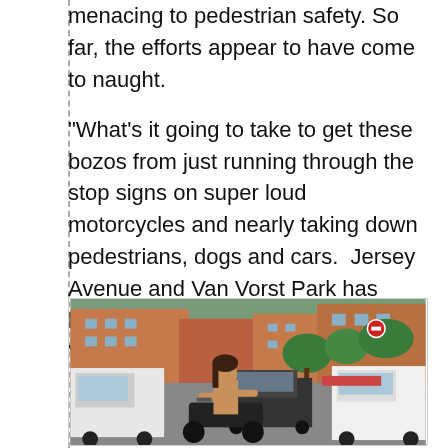menacing to pedestrian safety. So far, the efforts appear to have come to naught.
“What’s it going to take to get these bozos from just running through the stop signs on super loud motorcycles and nearly taking down pedestrians, dogs and cars.  Jersey Avenue and Van Vorst Park has become a speedway,” griped Van Vorst Park resident Mitch Mitchell.
[Figure (photo): Street scene photo showing a shirtless man on a motorcycle at a busy urban intersection. A white pickup truck is on the right, a black sedan is in the background center, and a white van is on the left. Red brick buildings, green trees, and a Do Not Enter sign are visible in the background.]